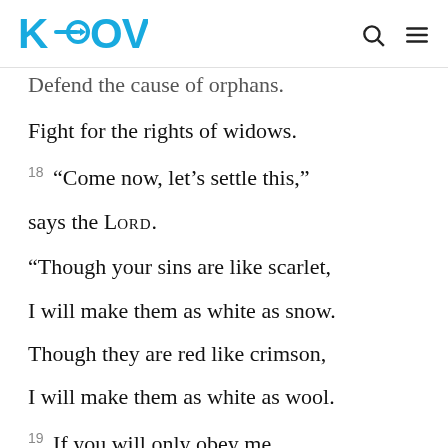K-LOVE
Defend the cause of orphans.
Fight for the rights of widows.
18 “Come now, let’s settle this,”
says the LORD.
“Though your sins are like scarlet,
I will make them as white as snow.
Though they are red like crimson,
I will make them as white as wool.
19 If you will only obey me,